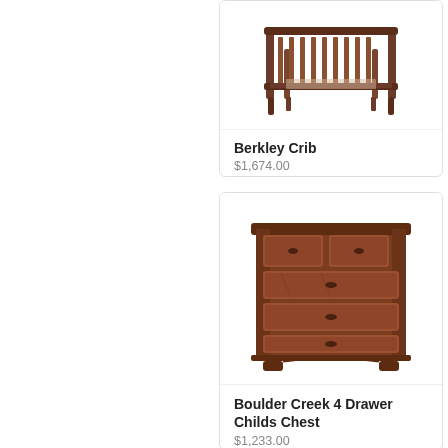[Figure (photo): Berkley Crib product photo — wooden baby crib with slatted headboard and footboard, dark brown finish, partially visible at top of page]
Berkley Crib
$1,674.00
[Figure (photo): Boulder Creek 4 Drawer Childs Chest product photo — solid wood chest of drawers with dark walnut finish, ornate carved drawer fronts, four drawers total with small metal hardware pulls]
Boulder Creek 4 Drawer Childs Chest
$1,233.00